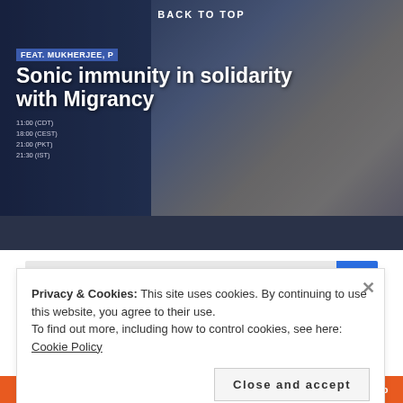BACK TO TOP
Sonic immunity in solidarity with Migrancy
FEAT. MUKHERJEE, P
11:00 (CDT)
18:00 (CEST)
21:00 (PKT)
21:30 (IST)
Search…
Email Address
Privacy & Cookies: This site uses cookies. By continuing to use this website, you agree to their use.
To find out more, including how to control cookies, see here: Cookie Policy
Close and accept
DuckDuckGo